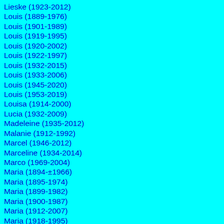Lieske (1923-2012)
Louis (1889-1976)
Louis (1901-1989)
Louis (1919-1995)
Louis (1920-2002)
Louis (1922-1997)
Louis (1932-2015)
Louis (1933-2006)
Louis (1945-2020)
Louis (1953-2019)
Louisa (1914-2000)
Lucia (1932-2009)
Madeleine (1935-2012)
Malanie (1912-1992)
Marcel (1946-2012)
Marceline (1934-2014)
Marco (1969-2004)
Maria (1894-±1966)
Maria (1895-1974)
Maria (1899-1982)
Maria (1900-1987)
Maria (1912-2007)
Maria (1918-1995)
Maria (1919-1988)
Maria (1921-1998)
Maria (1922-2017)
Maria (1925-2005)
Maria (1934-2017)